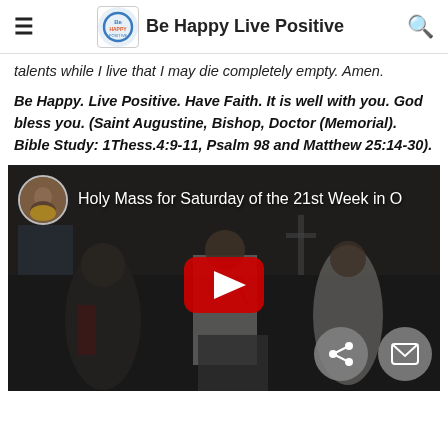Be Happy Live Positive
talents while I live that I may die completely empty. Amen.
Be Happy. Live Positive. Have Faith. It is well with you. God bless you. (Saint Augustine, Bishop, Doctor (Memorial). Bible Study: 1Thess.4:9-11, Psalm 98 and Matthew 25:14-30).
[Figure (screenshot): YouTube video thumbnail showing 'Holy Mass for Saturday of the 21st Week in O...' with a priest speaking at a pulpit, red YouTube play button overlay, and social share/email buttons in the bottom right corner.]